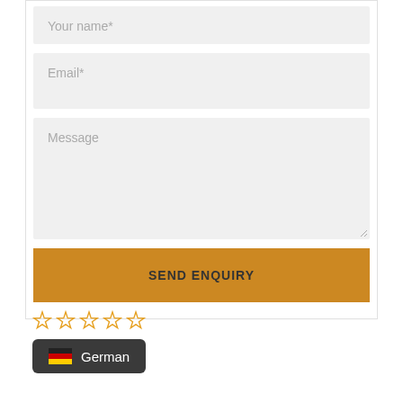Your name*
Email*
Message
SEND ENQUIRY
[Figure (other): Five empty star rating icons in a row]
[Figure (other): Language selector button showing German flag and text 'German' on dark background]